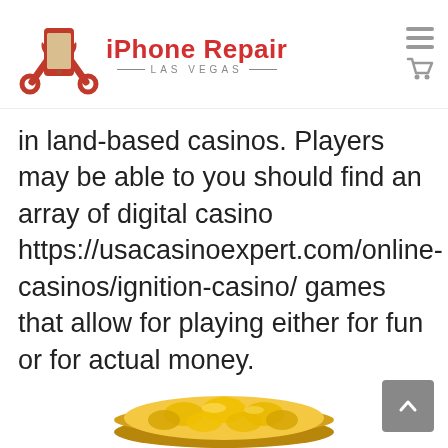[Figure (logo): iPhone Repair Las Vegas logo with smartphone and wrench icon in red]
in land-based casinos. Players may be able to you should find an array of digital casino https://usacasinoexpert.com/online-casinos/ignition-casino/ games that allow for playing either for fun or for actual money.
[Figure (photo): A golden bowl filled with gold coins, partially visible at the bottom of the page]